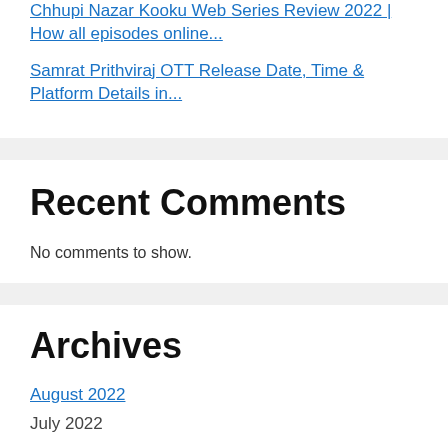Chhupi Nazar Kooku Web Series Review 2022 | How all episodes online...
Samrat Prithviraj OTT Release Date, Time & Platform Details in...
Recent Comments
No comments to show.
Archives
August 2022
July 2022